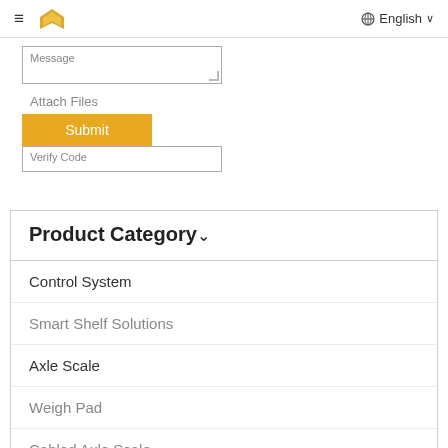≡ [logo] English ∨
Message
Attach Files
Submit
Verify Code
Product Category
Control System
Smart Shelf Solutions
Axle Scale
Weigh Pad
Cabled Axle Scale